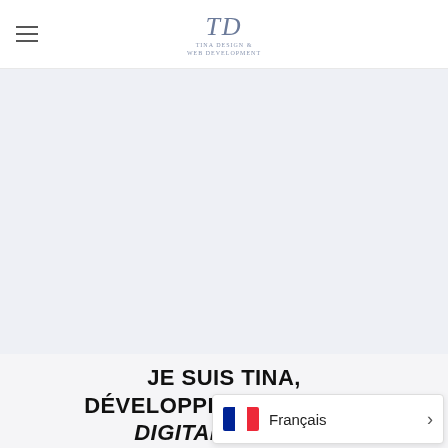TD (logo) — Tina Design / Web Development
[Figure (illustration): Large light gray-blue hero banner area, mostly empty/blank, serving as a background image placeholder.]
JE SUIS TINA, DÉVELOPPEUSE WEB ET DIGITAL STRA... FREELAN...
[Figure (infographic): Language selector widget showing French flag (blue, white, red vertical stripes) and text 'Français' with a right-pointing chevron arrow.]